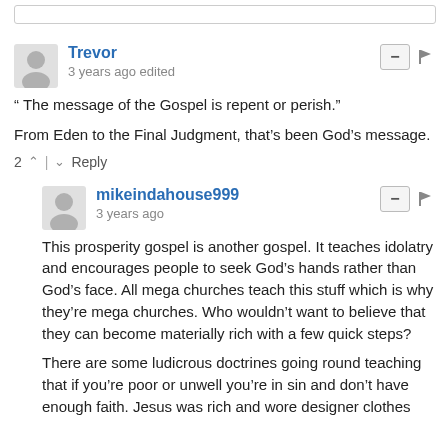Trevor — 3 years ago edited
" The message of the Gospel is repent or perish."

From Eden to the Final Judgment, that's been God's message.

2 ^ | v Reply
mikeindahouse999 — 3 years ago
This prosperity gospel is another gospel. It teaches idolatry and encourages people to seek God's hands rather than God's face. All mega churches teach this stuff which is why they're mega churches. Who wouldn't want to believe that they can become materially rich with a few quick steps?

There are some ludicrous doctrines going round teaching that if you're poor or unwell you're in sin and don't have enough faith. Jesus was rich and wore designer clothes